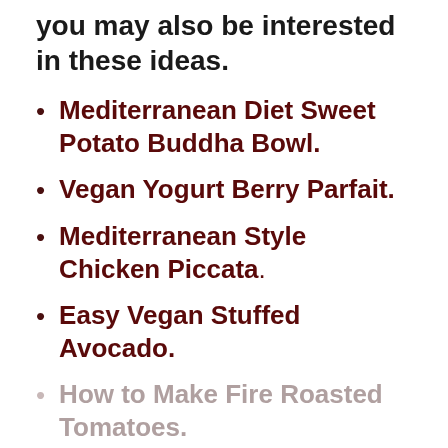you may also be interested in these ideas.
Mediterranean Diet Sweet Potato Buddha Bowl.
Vegan Yogurt Berry Parfait.
Mediterranean Style Chicken Piccata.
Easy Vegan Stuffed Avocado.
How to Make Fire Roasted Tomatoes.